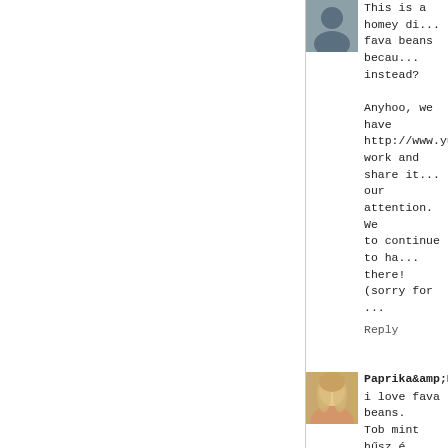[Figure (photo): Avatar silhouette icon of a person, grey background]
This is a homey di... fava beans becau... instead?
Anyhoo, we have http://www.yumgoe... work and share it... our attention. We... to continue to ha... there! (sorry for ...
Reply
[Figure (photo): Avatar photo of a woman with blonde hair]
Paprika&amp;amp;P
i love fava beans.
Tob mint hűsz év
gyermekkori de fi...
Ami az ágyat il...
vakációról
mivel nem tudom ki...